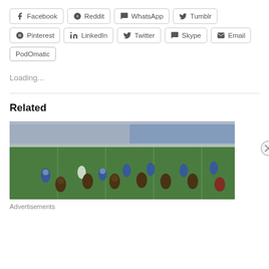[Figure (screenshot): Social share buttons row 1: Facebook, Reddit, WhatsApp, Tumblr]
[Figure (screenshot): Social share buttons row 2: Pinterest, LinkedIn, Twitter, Skype, Email]
[Figure (screenshot): PodOmatic share button]
Loading...
Related
[Figure (photo): American football game in progress on a green field, players in blue and dark uniforms lined up at scrimmage, crowd visible in background]
Advertisements